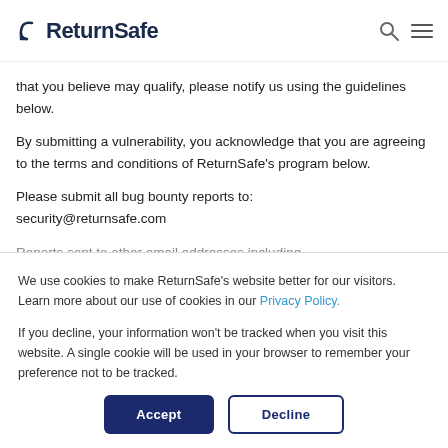ReturnSafe
that you believe may qualify, please notify us using the guidelines below.
By submitting a vulnerability, you acknowledge that you are agreeing to the terms and conditions of ReturnSafe's program below.
Please submit all bug bounty reports to:
security@returnsafe.com
Reports sent to other email addresses including,
We use cookies to make ReturnSafe's website better for our visitors. Learn more about our use of cookies in our Privacy Policy.

If you decline, your information won't be tracked when you visit this website. A single cookie will be used in your browser to remember your preference not to be tracked.